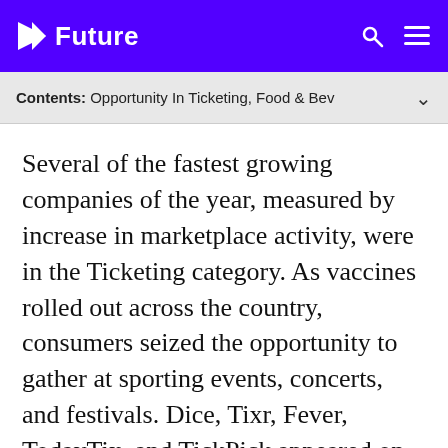Future
Contents: Opportunity In Ticketing, Food & Bev
Several of the fastest growing companies of the year, measured by increase in marketplace activity, were in the Ticketing category. As vaccines rolled out across the country, consumers seized the opportunity to gather at sporting events, concerts, and festivals. Dice, Tixr, Fever, TodayTix, and TickPick appeared on the list for the first time, joining companies like ViaGoGo and SeatGeek, which both ranked in the top five.